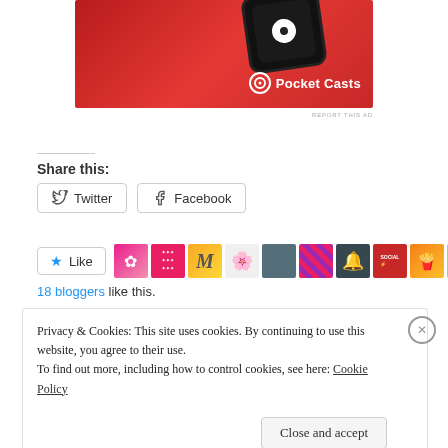[Figure (photo): Pocket Casts advertisement banner showing a red smartwatch device on a red gradient background with Pocket Casts logo and brand name]
REPORT THIS AD
Share this:
Twitter  Facebook
[Figure (infographic): Like button with star icon followed by a row of 10 small blogger avatar thumbnails]
18 bloggers like this.
Privacy & Cookies: This site uses cookies. By continuing to use this website, you agree to their use.
To find out more, including how to control cookies, see here: Cookie Policy
Close and accept